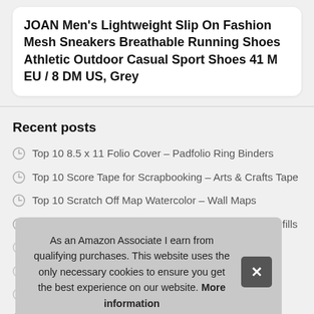JOAN Men's Lightweight Slip On Fashion Mesh Sneakers Breathable Running Shoes Athletic Outdoor Casual Sport Shoes 41 M EU / 8 DM US, Grey
Recent posts
Top 10 8.5 x 11 Folio Cover – Padfolio Ring Binders
Top 10 Score Tape for Scrapbooking – Arts & Crafts Tape
Top 10 Scratch Off Map Watercolor – Wall Maps
Top 9 2.0 mm Lead Refills 2B – Mechanical Pencil Refills
T...
T...
T...
Accessories
As an Amazon Associate I earn from qualifying purchases. This website uses the only necessary cookies to ensure you get the best experience on our website. More information